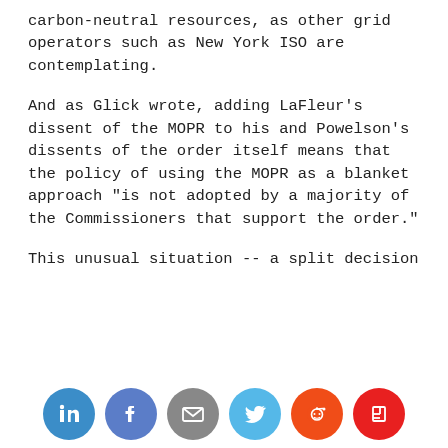carbon-neutral resources, as other grid operators such as New York ISO are contemplating.
And as Glick wrote, adding LaFleur's dissent of the MOPR to his and Powelson's dissents of the order itself means that the policy of using the MOPR as a blanket approach "is not adopted by a majority of the Commissioners that support the order."
This unusual situation -- a split decision on different parts of an order that was passed with a bare minimum of yes votes -- is likely to lead to legal challenges to the order. Former FERC Commissioner Norman Bay wrote on Twitter that opponents of ISO-NE's CASPR proposal are likely to redouble their efforts for a rehearing, and cite the "fractured vote" as a cause for legal appeals.
[Figure (infographic): Social sharing icons row: LinkedIn (blue), Facebook (blue), Email (gray), Twitter (light blue), Reddit (orange-red), Flipboard (red)]